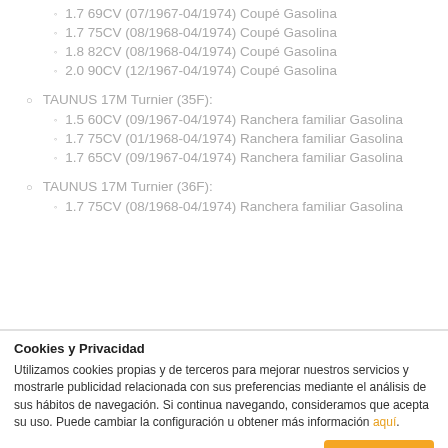1.7 69CV (07/1967-04/1974) Coupé Gasolina
1.7 75CV (08/1968-04/1974) Coupé Gasolina
1.8 82CV (08/1968-04/1974) Coupé Gasolina
2.0 90CV (12/1967-04/1974) Coupé Gasolina
TAUNUS 17M Turnier (35F):
1.5 60CV (09/1967-04/1974) Ranchera familiar Gasolina
1.7 75CV (01/1968-04/1974) Ranchera familiar Gasolina
1.7 65CV (09/1967-04/1974) Ranchera familiar Gasolina
TAUNUS 17M Turnier (36F):
1.7 75CV (08/1968-04/1974) Ranchera familiar Gasolina
Cookies y Privacidad
Utilizamos cookies propias y de terceros para mejorar nuestros servicios y mostrarle publicidad relacionada con sus preferencias mediante el análisis de sus hábitos de navegación. Si continua navegando, consideramos que acepta su uso. Puede cambiar la configuración u obtener más información aquí.